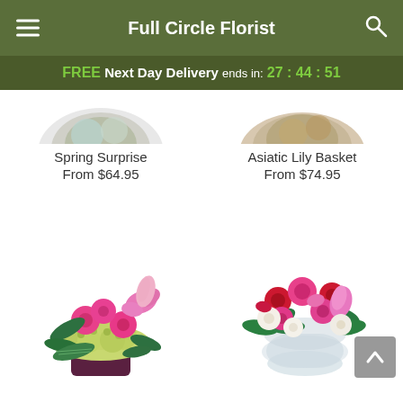Full Circle Florist
FREE Next Day Delivery ends in: 27:44:51
[Figure (photo): Partial top view of Spring Surprise flower arrangement]
[Figure (photo): Partial top view of Asiatic Lily Basket flower arrangement]
Spring Surprise
From $64.95
Asiatic Lily Basket
From $74.95
[Figure (photo): Pink roses and green hydrangea arrangement in dark purple cube vase]
[Figure (photo): Red and pink roses mixed flower arrangement in clear glass bowl vase]